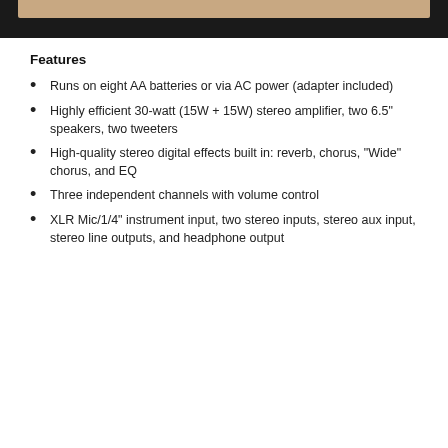[Figure (photo): Partial image of a product (speaker/amplifier) shown at the top of the page, with a dark background bar below it.]
Features
Runs on eight AA batteries or via AC power (adapter included)
Highly efficient 30-watt (15W + 15W) stereo amplifier, two 6.5" speakers, two tweeters
High-quality stereo digital effects built in: reverb, chorus, "Wide" chorus, and EQ
Three independent channels with volume control
XLR Mic/1/4" instrument input, two stereo inputs, stereo aux input, stereo line outputs, and headphone output